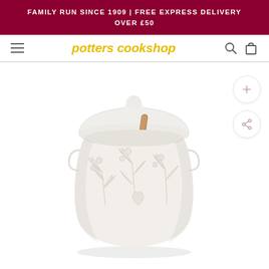FAMILY RUN SINCE 1909 | FREE EXPRESS DELIVERY OVER £50
potters cookshop
[Figure (photo): White ceramic embossed sugar/honey pot with domed lid and wooden spoon handle visible, featuring floral/leaf embossed pattern on the body]